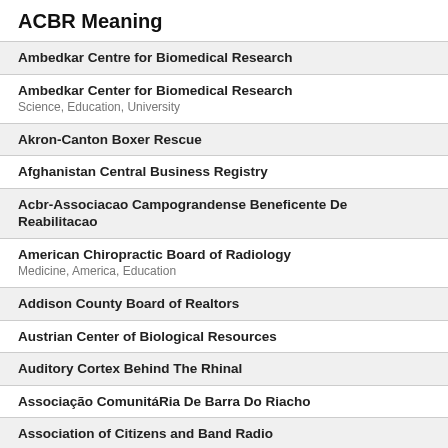ACBR Meaning
Ambedkar Centre for Biomedical Research
Ambedkar Center for Biomedical Research
Science, Education, University
Akron-Canton Boxer Rescue
Afghanistan Central Business Registry
Acbr-Associacao Campograndense Beneficente De Reabilitacao
American Chiropractic Board of Radiology
Medicine, America, Education
Addison County Board of Realtors
Austrian Center of Biological Resources
Auditory Cortex Behind The Rhinal
Associação ComunitáRia De Barra Do Riacho
Association of Citizens and Band Radio
Adjustable Constant Bit Rate
American Computer Barrel Racing